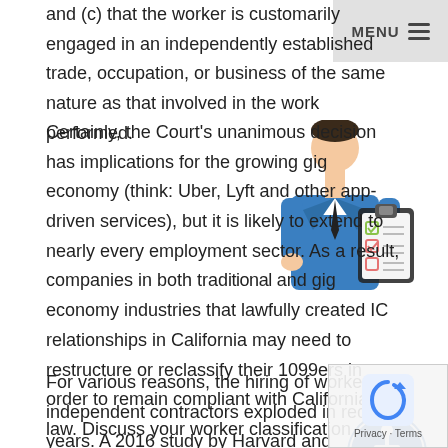and (c) that the worker is customarily engaged in an independently established trade, occupation, or business of the same nature as that involved in the work performed.
Certainly, the Court's unanimous decision has implications for the growing gig economy (think: Uber, Lyft and other app-driven services), but it is likely to extend to nearly every employment sector. As a result, companies in both traditional and gig economy industries that lawfully created IC relationships in California may need to restructure or reclassify their 1099ers in order to remain compliant with California law. Discuss your worker classification questions with experienced legal counsel.
[Figure (illustration): Illustration of a business person in a suit with a clipboard checklist]
[Figure (illustration): Blue circular accessibility icon with a person figure]
For various reasons, the hiring of workers as independent contractors exploded in recent years. A 2016 study by Harvard and Princeton universities estimated 12.5 million